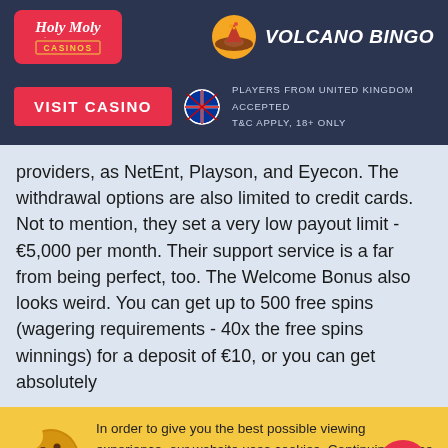[Figure (logo): Holy Moly Casinos logo - red rounded rectangle with white italic text and yellow CASINOS label]
[Figure (logo): Volcano Bingo logo - cartoon volcano icon and bold italic white VOLCANO BINGO text on dark background]
VISIT CASINO
PLAYERS FROM UNITED KINGDOM ACCEPTED
T&C APPLY, 18+ ONLY
providers, as NetEnt, Playson, and Eyecon. The withdrawal options are also limited to credit cards. Not to mention, they set a very low payout limit - €5,000 per month. Their support service is a far from being perfect, too. The Welcome Bonus also looks weird. You can get up to 500 free spins (wagering requirements - 40x the free spins winnings) for a deposit of €10, or you can get absolutely
In order to give you the best possible viewing experience, our website uses cookies. Continuing to use and browse our website, you agree to our use of cookies as defined in our Privacy Policy.
ALLOW COOKIES